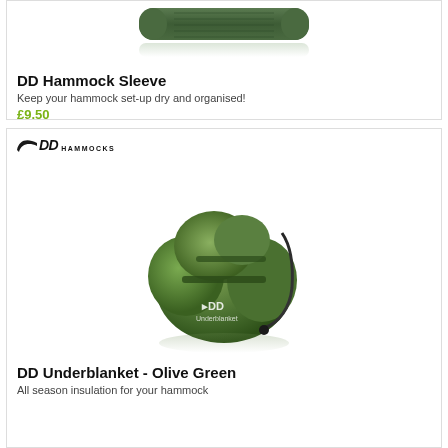[Figure (photo): DD Hammock Sleeve product image - rolled green hammock sleeve with reflection]
DD Hammock Sleeve
Keep your hammock set-up dry and organised!
£9.50
[Figure (logo): DD Hammocks logo with wing graphic]
[Figure (photo): DD Underblanket in Olive Green - packed into a stuffed compression sack]
DD Underblanket - Olive Green
All season insulation for your hammock